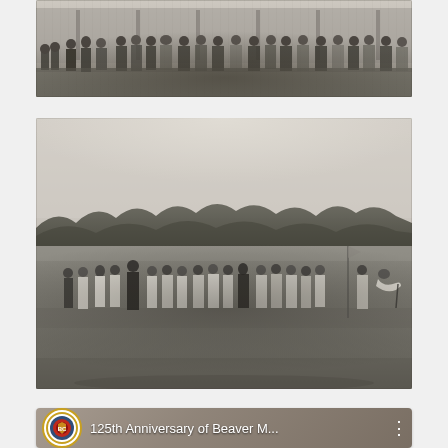[Figure (photo): Black and white historical photograph of a group of people in Victorian-era clothing gathered on a porch and lawn in front of a building.]
[Figure (photo): Black and white historical photograph of a group of people in Victorian-era clothing on a large open lawn or golf course, with trees in the background. A man is bent over on the right side, appearing to putt or play golf.]
[Figure (screenshot): Video thumbnail with circular logo icon and text reading '125th Anniversary of Beaver M...' with a three-dot menu icon on the right.]